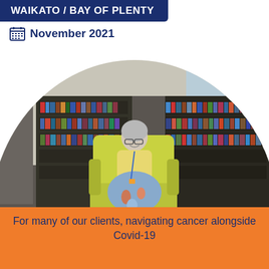WAIKATO / BAY OF PLENTY
November 2021
[Figure (photo): Woman with silver hair and glasses sitting in a yellow-green armchair in a library, wearing a yellow cardigan and floral dress with a lanyard, surrounded by bookshelves filled with books.]
For many of our clients, navigating cancer alongside Covid-19